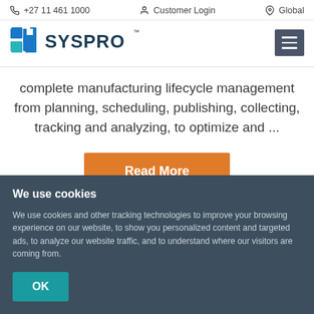+27 11 461 1000  Customer Login  Global
[Figure (logo): SYSPRO logo with blue and teal square icon and dark blue SYSPRO wordmark with trademark symbol]
complete manufacturing lifecycle management from planning, scheduling, publishing, collecting, tracking and analyzing, to optimize and ...
Read More
We use cookies
We use cookies and other tracking technologies to improve your browsing experience on our website, to show you personalized content and targeted ads, to analyze our website traffic, and to understand where our visitors are coming from.
OK